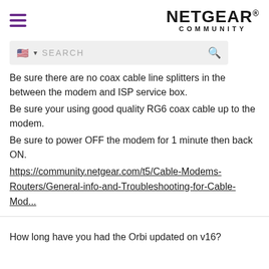NETGEAR COMMUNITY
Be sure there are no coax cable line splitters in the between the modem and ISP service box.
Be sure your using good quality RG6 coax cable up to the modem.
Be sure to power OFF the modem for 1 minute then back ON.
https://community.netgear.com/t5/Cable-Modems-Routers/General-info-and-Troubleshooting-for-Cable-Mod...
How long have you had the Orbi updated on v16?